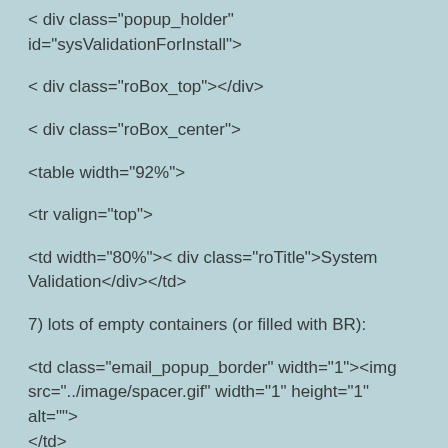< div class="popup_holder" id="sysValidationForInstall">
< div class="roBox_top"></div>
< div class="roBox_center">
<table width="92%">
<tr valign="top">
<td width="80%">< div class="roTitle">System Validation</div></td>
7) lots of empty containers (or filled with BR):
<td class="email_popup_border" width="1"><img src="../image/spacer.gif" width="1" height="1" alt=""></td>
<td class="0" width="100%"><div class="roct">